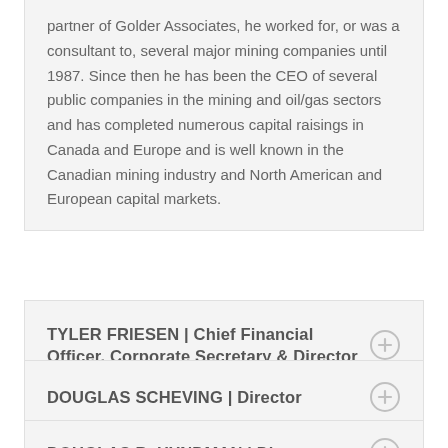partner of Golder Associates, he worked for, or was a consultant to, several major mining companies until 1987. Since then he has been the CEO of several public companies in the mining and oil/gas sectors and has completed numerous capital raisings in Canada and Europe and is well known in the Canadian mining industry and North American and European capital markets.
TYLER FRIESEN | Chief Financial Officer, Corporate Secretary & Director
DOUGLAS SCHEVING | Director
DOUGLAS B. HYNDMAN | Director